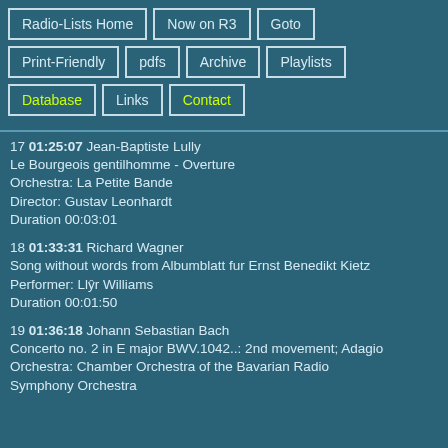Radio-Lists Home
Now on R3
Goto
Print-Friendly
pdfs
Archive
Playlists
Database
Links
Contact
17 01:25:07 Jean-Baptiste Lully
Le Bourgeois gentilhomme - Overture
Orchestra: La Petite Bande
Director: Gustav Leonhardt
Duration 00:03:01
18 01:33:31 Richard Wagner
Song without words from Albumblatt fur Ernst Benedikt Kietz
Performer: Llŷr Williams
Duration 00:01:50
19 01:36:18 Johann Sebastian Bach
Concerto no. 2 in E major BWV.1042..: 2nd movement; Adagio
Orchestra: Chamber Orchestra of the Bavarian Radio Symphony Orchestra